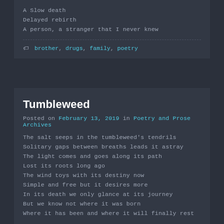A Slow death
Delayed rebirth
A person, a stranger that I never knew
brother, drugs, family, poetry
Tumbleweed
Posted on February 13, 2019 in Poetry and Prose Archives
The salt seeps in the tumbleweed's tendrils
Solitary gaps between breaths leads it astray
The light comes and goes along its path
Lost its roots long ago
The wind toys with its destiny now
Simple and free but it desires more
In its death we only glance at its journey
But we know not where it was born
Where it has been and where it will finally rest